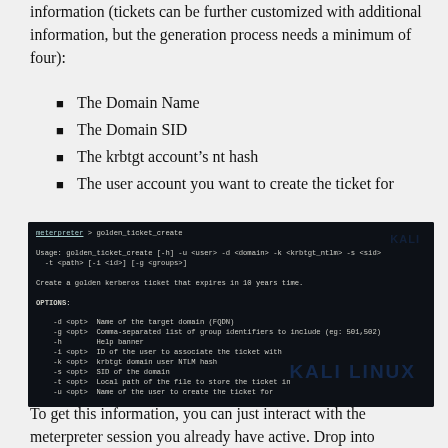information (tickets can be further customized with additional information, but the generation process needs a minimum of four):
The Domain Name
The Domain SID
The krbtgt account's nt hash
The user account you want to create the ticket for
[Figure (screenshot): Terminal screenshot showing the meterpreter golden_ticket_create command usage and options, with a Kali Linux watermark overlay. Shows usage syntax, description about creating a golden kerberos ticket that expires in 10 years, and OPTIONS listing -d, -g, -h, -i, -k, -s, -t, -u flags with descriptions.]
To get this information, you can just interact with the meterpreter session you already have active. Drop into